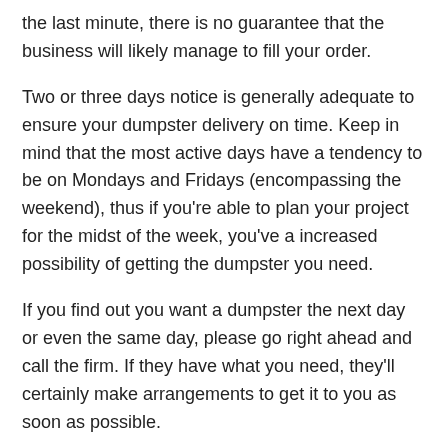the last minute, there is no guarantee that the business will likely manage to fill your order.
Two or three days notice is generally adequate to ensure your dumpster delivery on time. Keep in mind that the most active days have a tendency to be on Mondays and Fridays (encompassing the weekend), thus if you're able to plan your project for the midst of the week, you've a increased possibility of getting the dumpster you need.
If you find out you want a dumpster the next day or even the same day, please go right ahead and call the firm. If they have what you need, they'll certainly make arrangements to get it to you as soon as possible.
(See also: Dumpster Rental in Hayden, ID for more information)
How high can I fill my dumpster?